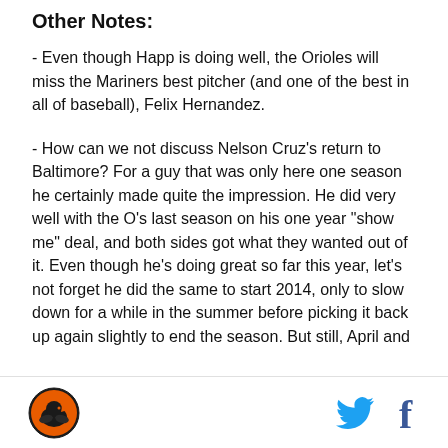Other Notes:
- Even though Happ is doing well, the Orioles will miss the Mariners best pitcher (and one of the best in all of baseball), Felix Hernandez.
- How can we not discuss Nelson Cruz's return to Baltimore? For a guy that was only here one season he certainly made quite the impression. He did very well with the O's last season on his one year "show me" deal, and both sides got what they wanted out of it. Even though he's doing great so far this year, let's not forget he did the same to start 2014, only to slow down for a while in the summer before picking it back up again slightly to end the season. But still, April and
[logo] [twitter] [facebook]